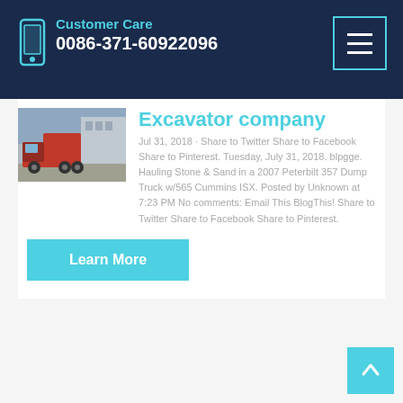Customer Care 0086-371-60922096
Excavator company
Jul 31, 2018 · Share to Twitter Share to Facebook Share to Pinterest. Tuesday, July 31, 2018. blpgge. Hauling Stone & Sand in a 2007 Peterbilt 357 Dump Truck w/565 Cummins ISX. Posted by Unknown at 7:23 PM No comments: Email This BlogThis! Share to Twitter Share to Facebook Share to Pinterest.
[Figure (photo): Photo of a red dump truck parked near a building]
Learn More